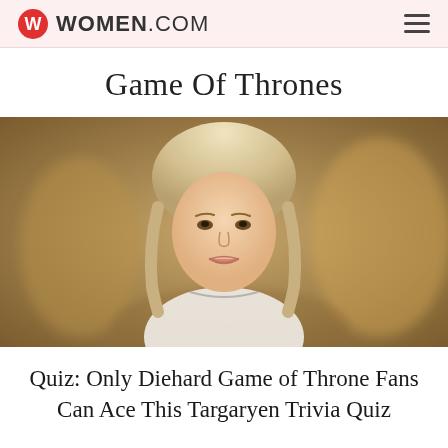WOMEN.COM
Game Of Thrones
[Figure (photo): Portrait of a young blonde woman with braided hair and a silver necklace, wearing a white dress, in a warm blurred indoor setting resembling a scene from Game of Thrones (Daenerys Targaryen character).]
Quiz: Only Diehard Game of Throne Fans Can Ace This Targaryen Trivia Quiz